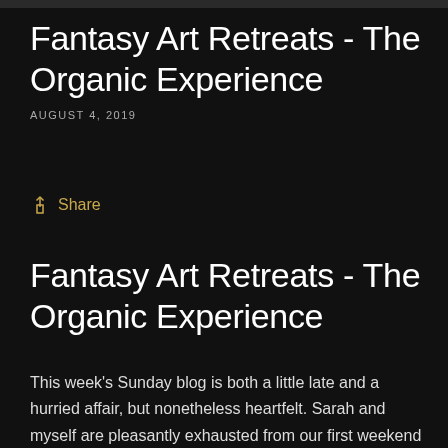Fantasy Art Retreats - The Organic Experience
AUGUST 4, 2019
Share
Fantasy Art Retreats - The Organic Experience
This week's Sunday blog is both a little late and a hurried affair, but nonetheless heartfelt.  Sarah and myself are pleasantly exhausted from our first weekend art retreat, held at Abbey Farm near Cirencester, which ended just over seven